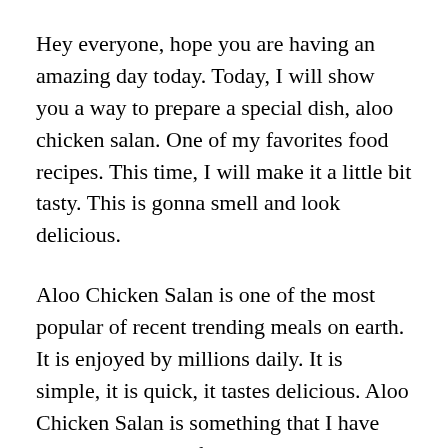Hey everyone, hope you are having an amazing day today. Today, I will show you a way to prepare a special dish, aloo chicken salan. One of my favorites food recipes. This time, I will make it a little bit tasty. This is gonna smell and look delicious.
Aloo Chicken Salan is one of the most popular of recent trending meals on earth. It is enjoyed by millions daily. It is simple, it is quick, it tastes delicious. Aloo Chicken Salan is something that I have loved my whole life. They’re nice and they look fantastic.
To begin with this recipe, we must prepare a few